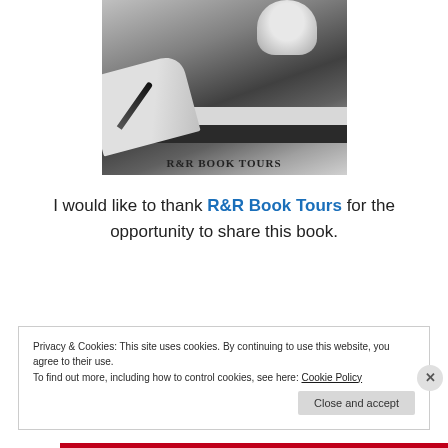[Figure (photo): Black and white photo of stacked books with a feather quill and a white ceramic mug, with text 'R&R BOOK TOURS' at the bottom]
I would like to thank R&R Book Tours for the opportunity to share this book.
Privacy & Cookies: This site uses cookies. By continuing to use this website, you agree to their use.
To find out more, including how to control cookies, see here: Cookie Policy